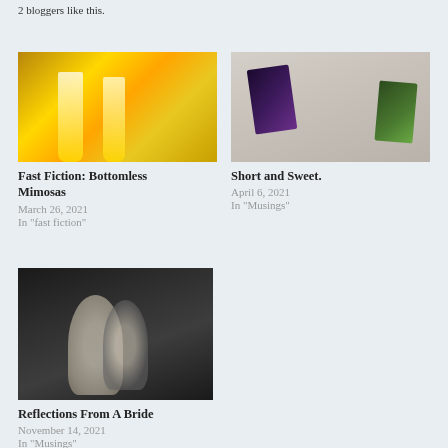2 bloggers like this.
[Figure (photo): Mimosas in champagne flutes with orange slices on a table]
Fast Fiction: Bottomless Mimosas
March 26, 2021
In "fast fiction"
[Figure (photo): Several book covers arranged on a surface including Mixed and Faking Girls]
Short and Sweet.
April 6, 2021
In "Musings"
[Figure (photo): Black and white photo of a bride and groom at a bar]
Reflections From A Bride
November 14, 2021
In "Musings"